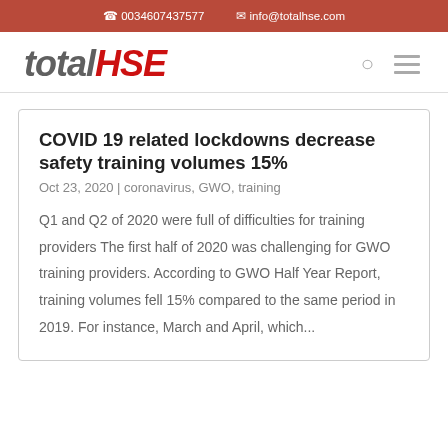0034607437577  info@totalhse.com
[Figure (logo): totalHSE logo — 'total' in dark grey italic bold, 'HSE' in red italic bold]
COVID 19 related lockdowns decrease safety training volumes 15%
Oct 23, 2020 | coronavirus, GWO, training
Q1 and Q2 of 2020 were full of difficulties for training providers The first half of 2020 was challenging for GWO training providers. According to GWO Half Year Report, training volumes fell 15% compared to the same period in 2019. For instance, March and April, which...